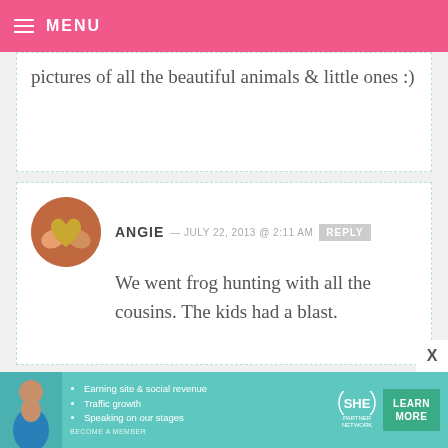MENU
pictures of all the beautiful animals & little ones :)
ANGIE — JULY 22, 2013 @ 2:11 AM  REPLY
We went frog hunting with all the cousins. The kids had a blast.
ELIDET — JULY 22, 2013 @ 2:11 AM  REPLY
[Figure (infographic): SHE Partner Network advertisement banner with photo of woman, bullet points: Earning site & social revenue, Traffic growth, Speaking on our stages, SHE PARTNER NETWORK BECOME A MEMBER logo, LEARN MORE button]